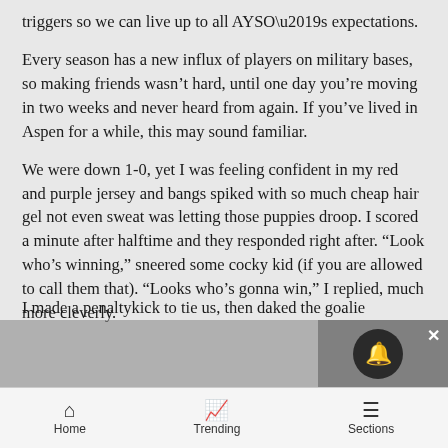triggers so we can live up to all AYSO’s expectations.
Every season has a new influx of players on military bases, so making friends wasn’t hard, until one day you’re moving in two weeks and never heard from again. If you’ve lived in Aspen for a while, this may sound familiar.
We were down 1-0, yet I was feeling confident in my red and purple jersey and bangs spiked with so much cheap hair gel not even sweat was letting those puppies droop. I scored a minute after halftime and they responded right after. “Look who’s winning,” sneered some cocky kid (if you are allowed to call them that). “Looks who’s gonna win,” I replied, much more cleverly.
I made a penaltykick to tie us, then daked the goalie
Home   Trending   Sections